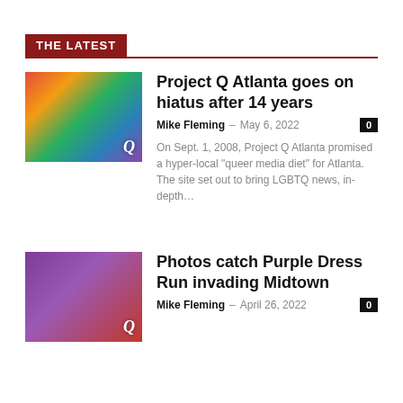THE LATEST
[Figure (photo): Person celebrating with rainbow flag at Pride event]
Project Q Atlanta goes on hiatus after 14 years
Mike Fleming – May 6, 2022  0
On Sept. 1, 2008, Project Q Atlanta promised a hyper-local “queer media diet” for Atlanta. The site set out to bring LGBTQ news, in-depth…
[Figure (photo): Group of people at Purple Dress Run event in Midtown]
Photos catch Purple Dress Run invading Midtown
Mike Fleming – April 26, 2022  0